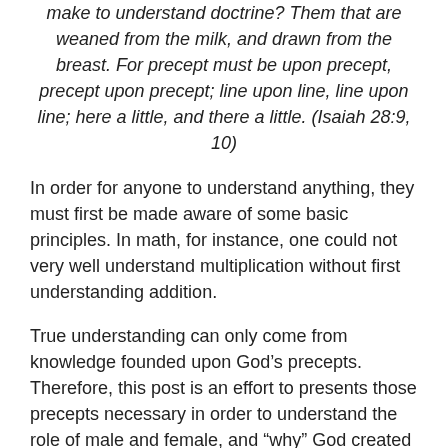make to understand doctrine? Them that are weaned from the milk, and drawn from the breast. For precept must be upon precept, precept upon precept; line upon line, line upon line; here a little, and there a little. (Isaiah 28:9, 10)
In order for anyone to understand anything, they must first be made aware of some basic principles. In math, for instance, one could not very well understand multiplication without first understanding addition.
True understanding can only come from knowledge founded upon God's precepts. Therefore, this post is an effort to presents those precepts necessary in order to understand the role of male and female, and “why” God created us such.
God created humanity to be both male and female so they could “adorn the doctrine of God our Savior in all things.”